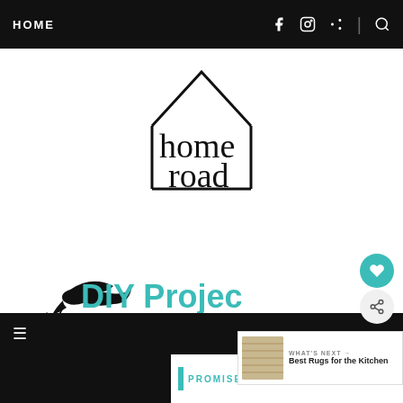HOME
[Figure (logo): Homeroad logo: outline of a house shape with the text 'home road' in lowercase inside]
[Figure (illustration): Small black bird silhouette followed by teal text 'DIY Projects' and below 'Repurposed & Reb...' in teal large font]
WHAT'S NEXT → Best Rugs for the Kitchen
≡